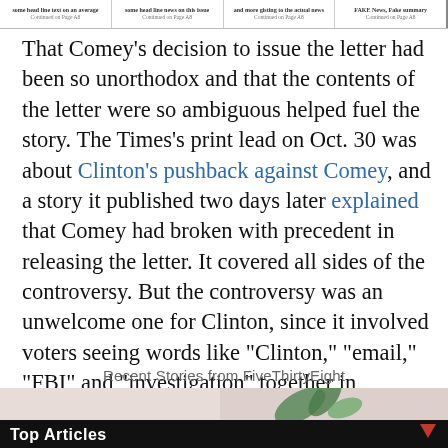Newspaper navigation header with multiple story teasers
That Comey’s decision to issue the letter had been so unorthodox and that the contents of the letter were so ambiguous helped fuel the story. The Times’s print lead on Oct. 30 was about Clinton’s pushback against Comey, and a story it published two days later explained that Comey had broken with precedent in releasing the letter. It covered all sides of the controversy. But the controversy was an unwelcome one for Clinton, since it involved voters seeing words like “Clinton,” “email,” “FBI” and “investigation” together in headlines. Within a day of the Comey letter, Google searches for “Clinton FBI” had increased 50-fold and searches for “Clinton email” almost tenfold.
Recent Stories from FiveThirtyEight
[Figure (screenshot): Bottom strip showing 'Top Articles' bar with a pink/mauve background and decorative leaf element]